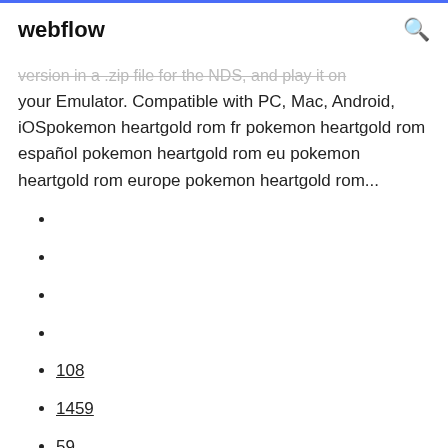webflow
version in a .zip file for the NDS, and play it on your Emulator. Compatible with PC, Mac, Android, iOSpokemon heartgold rom fr pokemon heartgold rom español pokemon heartgold rom eu pokemon heartgold rom europe pokemon heartgold rom...
108
1459
59